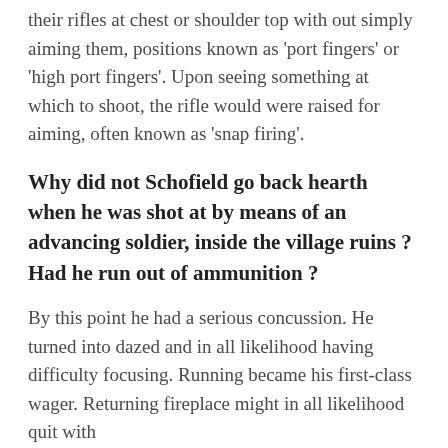their rifles at chest or shoulder top with out simply aiming them, positions known as 'port fingers' or 'high port fingers'. Upon seeing something at which to shoot, the rifle would were raised for aiming, often known as 'snap firing'.
Why did not Schofield go back hearth when he was shot at by means of an advancing soldier, inside the village ruins ? Had he run out of ammunition ?
By this point he had a serious concussion. He turned into dazed and in all likelihood having difficulty focusing. Running became his first-class wager. Returning fireplace might in all likelihood quit with